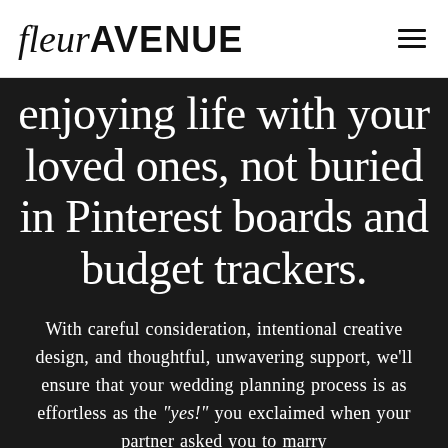fleurAVENUE
enjoying life with your loved ones, not buried in Pinterest boards and budget trackers.
With careful consideration, intentional creative design, and thoughtful, unwavering support, we’ll ensure that your wedding planning process is as effortless as the “yes!” you exclaimed when your partner asked you to marry